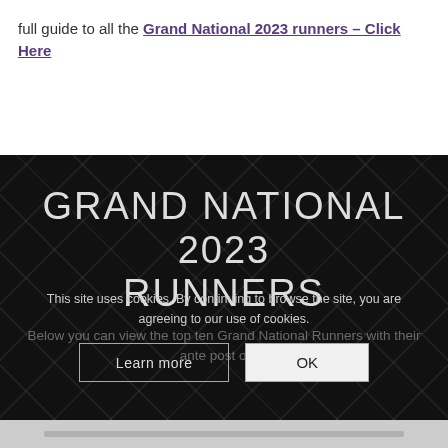full guide to all the Grand National 2023 runners – Click Here
[Figure (screenshot): Dark banner section with diamond pattern background showing 'GRAND NATIONAL 2023 RUNNERS' title and subtitle text, overlaid with a cookie consent dialog containing 'Learn more' and 'OK' buttons]
This site uses cookies. By continuing to browse the site, you are agreeing to our use of cookies.